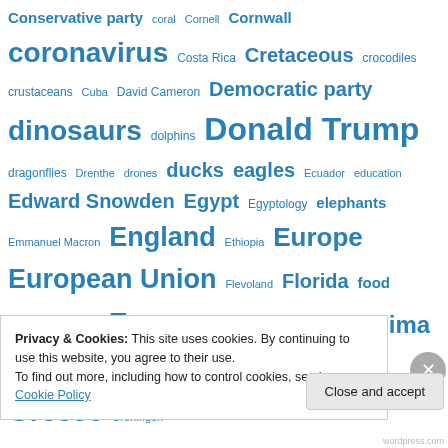Conservative party coral Cornell Cornwall coronavirus Costa Rica Cretaceous crocodiles crustaceans Cuba David Cameron Democratic party dinosaurs dolphins Donald Trump dragonflies Drenthe drones ducks eagles Ecuador education Edward Snowden Egypt Egyptology elephants Emmanuel Macron England Ethiopia Europe European Union Flevoland Florida food football foxes France Friesland frogs Fukushima fungi Galapagos Gelderland Germany Golden Dawn Greece Groningen
Privacy & Cookies: This site uses cookies. By continuing to use this website, you agree to their use. To find out more, including how to control cookies, see here: Cookie Policy
Close and accept